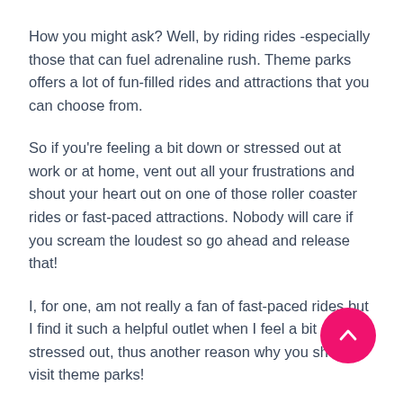How you might ask? Well, by riding rides -especially those that can fuel adrenaline rush. Theme parks offers a lot of fun-filled rides and attractions that you can choose from.
So if you're feeling a bit down or stressed out at work or at home, vent out all your frustrations and shout your heart out on one of those roller coaster rides or fast-paced attractions. Nobody will care if you scream the loudest so go ahead and release that!
I, for one, am not really a fan of fast-paced rides but I find it such a helpful outlet when I feel a bit do... or stressed out, thus another reason why you should visit theme parks!
[Figure (other): Pink circular button with an upward-pointing chevron arrow, positioned in the lower right corner of the page.]